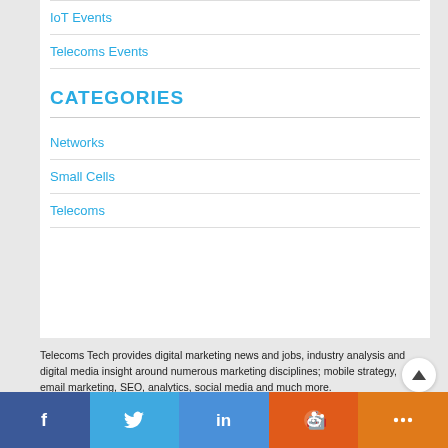IoT Events
Telecoms Events
CATEGORIES
Networks
Small Cells
Telecoms
Telecoms Tech provides digital marketing news and jobs, industry analysis and digital media insight around numerous marketing disciplines; mobile strategy, email marketing, SEO, analytics, social media and much more.
Please follow this link for our privacy policy.
Facebook Twitter LinkedIn Reddit More